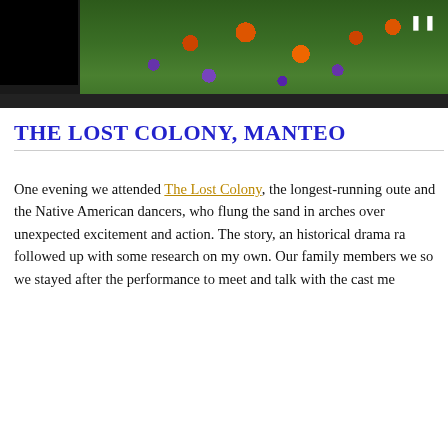[Figure (photo): Top portion of a slideshow/video player showing colorful flowers (orange and purple) with green foliage against a dark frame. A black rectangle covers the left portion. A pause icon is visible in the upper right.]
THE LOST COLONY, MANTEO
One evening we attended The Lost Colony, the longest-running oute and the Native American dancers, who flung the sand in arches over unexpected excitement and action. The story, an historical drama ra followed up with some research on my own. Our family members we so we stayed after the performance to meet and talk with the cast me
[Figure (photo): Bottom portion of a slideshow/video player showing a theatrical scene. A black rectangle covers the left portion. The right side shows what appears to be a period-costumed performer (woman with an elaborate hairstyle/crown) against a tan/beige background.]